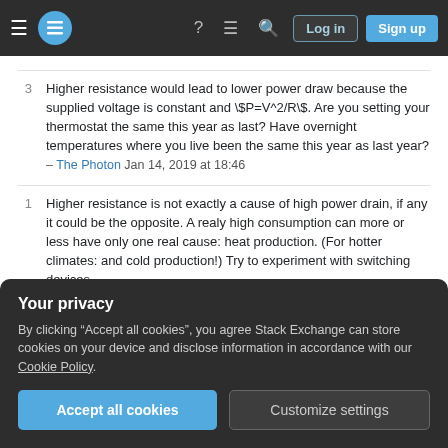Stack Exchange navigation bar with Log in and Sign up buttons
3 – Higher resistance would lead to lower power draw because the supplied voltage is constant and \$P=V^2/R\$. Are you setting your thermostat the same this year as last? Have overnight temperatures where you live been the same this year as last year? – The Photon Jan 14, 2019 at 18:46
1 – Higher resistance is not exactly a cause of high power drain, if any it could be the opposite. A realy high consumption can more or less have only one real cause: heat production. (For hotter climates: and cold production!) Try to experiment with switching devices
Your privacy
By clicking "Accept all cookies", you agree Stack Exchange can store cookies on your device and disclose information in accordance with our Cookie Policy.
Accept all cookies  Customize settings